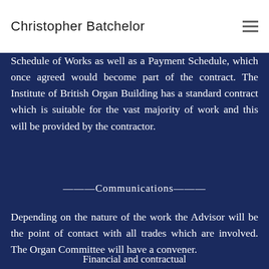Christopher Batchelor
Schedule of Works as well as a Payment Schedule, which once agreed would become part of the contract. The Institute of British Organ Building has a standard contract which is suitable for the vast majority of work and this will be provided by the contractor.
———Communications———
Depending on the nature of the work the Advisor will be the point of contact with all trades which are involved. The Organ Committee will have a convener.
Financial and contractual